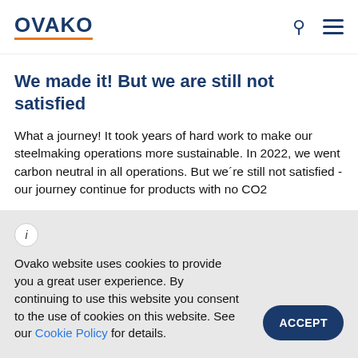OVAKO
We made it! But we are still not satisfied
What a journey! It took years of hard work to make our steelmaking operations more sustainable. In 2022, we went carbon neutral in all operations. But we´re still not satisfied - our journey continue for products with no CO2
Ovako website uses cookies to provide you a great user experience. By continuing to use this website you consent to the use of cookies on this website. See our Cookie Policy for details.